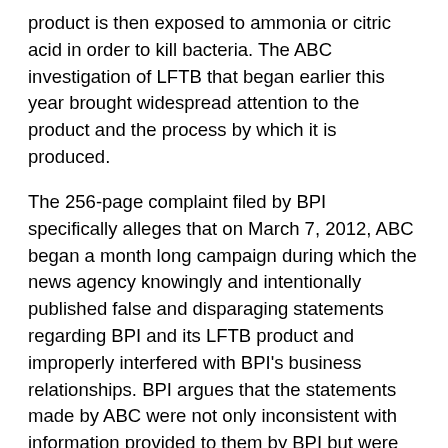product is then exposed to ammonia or citric acid in order to kill bacteria. The ABC investigation of LFTB that began earlier this year brought widespread attention to the product and the process by which it is produced.
The 256-page complaint filed by BPI specifically alleges that on March 7, 2012, ABC began a month long campaign during which the news agency knowingly and intentionally published false and disparaging statements regarding BPI and its LFTB product and improperly interfered with BPI's business relationships. BPI argues that the statements made by ABC were not only inconsistent with information provided to them by BPI but were also contradictory to the findings of the U.S. Department of Agriculture's (USDA) Food Safety and Inspection Service (FSIS), the Food and Drug Administration, food safety organizations, and many beef industry experts.
The company asserts that ABC's reports caused